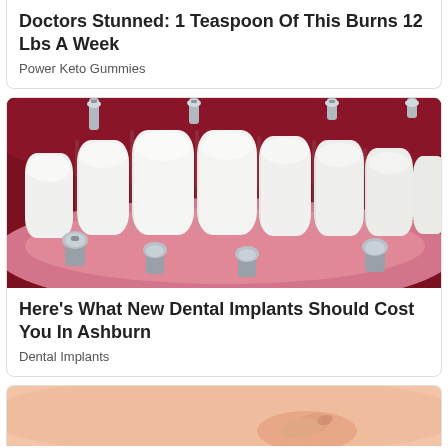Doctors Stunned: 1 Teaspoon Of This Burns 12 Lbs A Week
Power Keto Gummies
[Figure (photo): 3D medical illustration of dental implants shown from below inside the mouth, with white ceramic teeth and multiple silver metal implant screws embedded in gum tissue]
Here's What New Dental Implants Should Cost You In Ashburn
Dental Implants
[Figure (photo): Close-up photo of a person's midsection or belly area with a hand/finger touching the skin, partially visible at bottom of page]